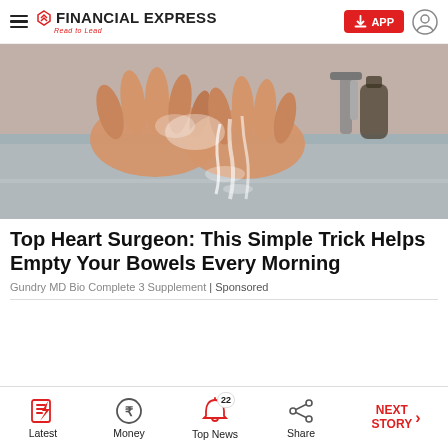FINANCIAL EXPRESS Read to Lead
[Figure (photo): Hands washing/rinsing under running water at a sink, with a dark bottle visible in the background]
Top Heart Surgeon: This Simple Trick Helps Empty Your Bowels Every Morning
Gundry MD Bio Complete 3 Supplement | Sponsored
Latest | Money | Top News 22 | Share | NEXT STORY →